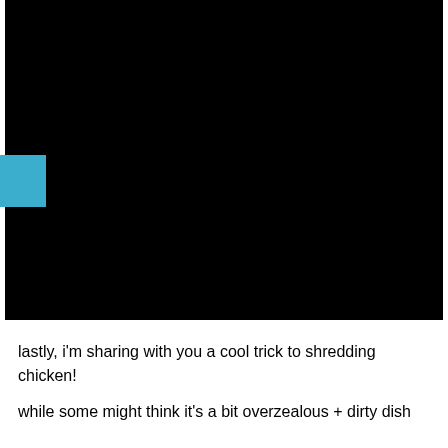[Figure (photo): Large black rectangular image block with a blue accent tab on the left side]
lastly, i'm sharing with you a cool trick to shredding chicken!
while some might think it's a bit overzealous + dirty dish